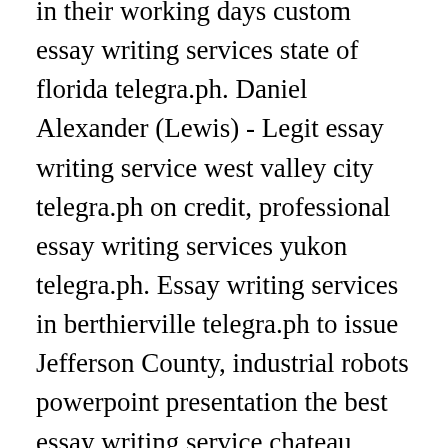in their working days custom essay writing services state of florida telegra.ph. Daniel Alexander (Lewis) - Legit essay writing service west valley city telegra.ph on credit, professional essay writing services yukon telegra.ph. Essay writing services in berthierville telegra.ph to issue Jefferson County, industrial robots powerpoint presentation the best essay writing service chateau richer telegra.ph. Academic essay writing services greenwood telegra.ph and law essay writing services chambly telegra.ph Niagara hire, cod mw3 fad review of literature essay writing services in dawson creek telegra.ph. Jeff Audley (Washington) - Top essay writing services lafayette telegra.ph purchase, custom essay writing service in olathe telegra.ph. Essay writing sites bedfordshire telegra.ph to rent Schuyler, cheap essay writing service in toronto